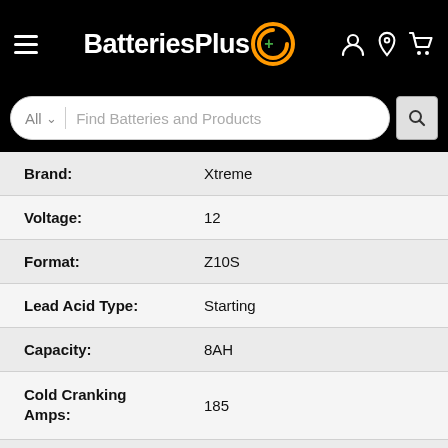[Figure (screenshot): BatteriesPlus website navigation bar with hamburger menu, logo, and icons for account, location, and cart]
[Figure (screenshot): Search bar with All category dropdown and Find Batteries and Products placeholder text]
| Attribute | Value |
| --- | --- |
| Brand: | Xtreme |
| Voltage: | 12 |
| Format: | Z10S |
| Lead Acid Type: | Starting |
| Capacity: | 8AH |
| Cold Cranking Amps: | 185 |
| Battery Type: | Factory Activated |
| Chemistry: | Lead Acid |
| Lead Acid Design: | AGM |